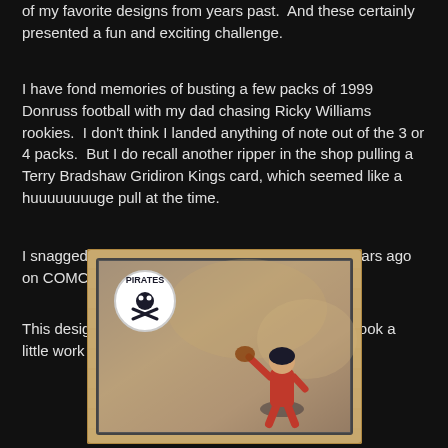of my favorite designs from years past.  And these certainly presented a fun and exciting challenge.
I have fond memories of busting a few packs of 1999 Donruss football with my dad chasing Ricky Williams rookies.  I don't think I landed anything of note out of the 3 or 4 packs.  But I do recall another ripper in the shop pulling a Terry Bradshaw Gridiron Kings card, which seemed like a huuuuuuuuge pull at the time.
I snagged a copy of the card for myself a couple years ago on COMC.  I think I paid less than $1.
This design was fun to play around with, though it took a little work to get the layering down just right.
[Figure (illustration): A custom trading card with a wood-panel style border, featuring a Pittsburgh Pirates logo circle in the upper left and a baseball player in a fielding pose on the right side of the card image.]